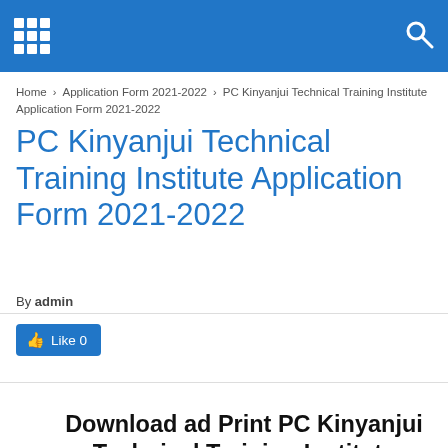PC Kinyanjui Technical Training Institute Application Form 2021-2022
Home › Application Form 2021-2022 › PC Kinyanjui Technical Training Institute Application Form 2021-2022
PC Kinyanjui Technical Training Institute Application Form 2021-2022
By admin
[Figure (other): Facebook Like button showing Like 0]
Download ad Print PC Kinyanjui Technical Training Institute